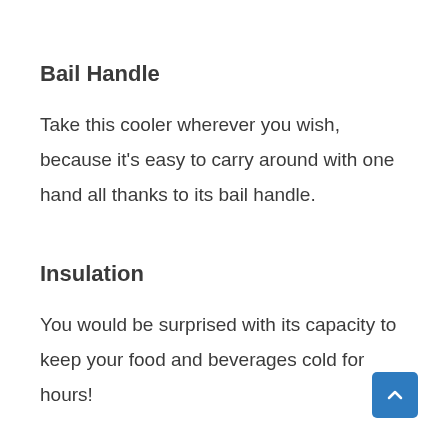Bail Handle
Take this cooler wherever you wish, because it's easy to carry around with one hand all thanks to its bail handle.
Insulation
You would be surprised with its capacity to keep your food and beverages cold for hours!